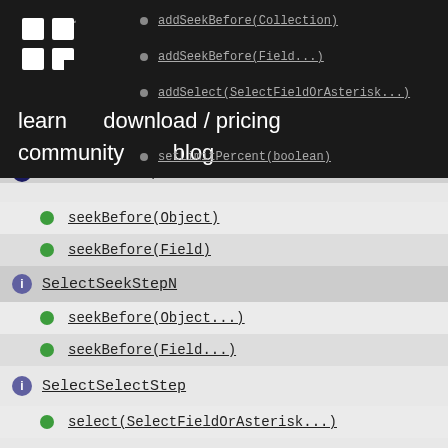[Figure (logo): jOOQ logo — white squares forming a grid pattern on dark background]
learn   download / pricing   community   blog
addSeekBefore(Collection)
addSeekBefore(Field...)
addSelect(SelectFieldOrAsterisk...)
setLimitPercent(boolean)
SelectSeekStep1 - 22
seekBefore(Object)
seekBefore(Field)
SelectSeekStepN
seekBefore(Object...)
seekBefore(Field...)
SelectSelectStep
select(SelectFieldOrAsterisk...)
SelectWhereStep
where(Condition)